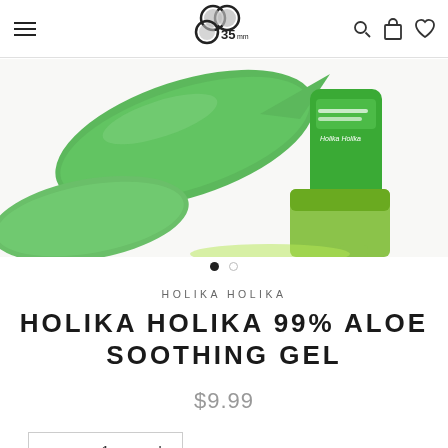35mm store navigation header with logo and icons
[Figure (photo): Holika Holika aloe vera soothing gel product photo with green aloe leaf and green gel jar/tube containers on white background]
HOLIKA HOLIKA
HOLIKA HOLIKA 99% ALOE SOOTHING GEL
$9.99